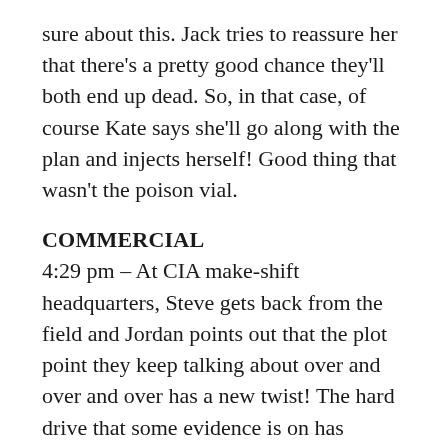sure about this. Jack tries to reassure her that there's a pretty good chance they'll both end up dead. So, in that case, of course Kate says she'll go along with the plan and injects herself! Good thing that wasn't the poison vial.
COMMERCIAL
4:29 pm – At CIA make-shift headquarters, Steve gets back from the field and Jordan points out that the plot point they keep talking about over and over and over has a new twist! The hard drive that some evidence is on has something wrong with it. Steve says that they don't have time to screw around with it. He seems worried about his browser history.